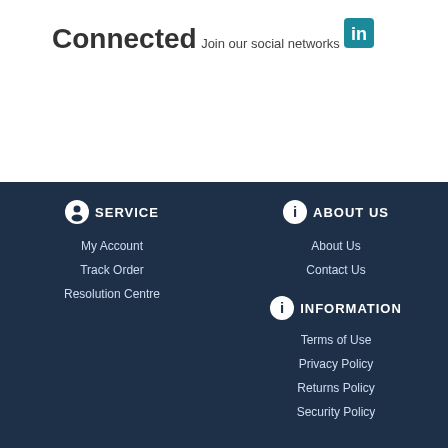Connected
Join our social networks
[Figure (logo): LinkedIn icon button]
SERVICE
My Account
Track Order
Resolution Centre
ABOUT US
About Us
Contact Us
INFORMATION
Terms of Use
Privacy Policy
Returns Policy
Security Policy